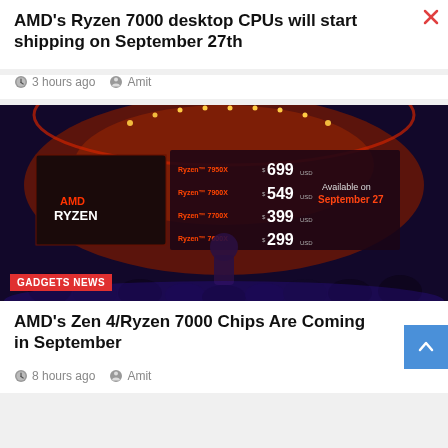AMD's Ryzen 7000 desktop CPUs will start shipping on September 27th
3 hours ago   Amit
[Figure (photo): AMD Ryzen 7000 series product launch event on stage with pricing slide showing Ryzen 7950X $699, 7900X $549, 7700X $399, 7600X $299, Available on September 27]
GADGETS NEWS
AMD's Zen 4/Ryzen 7000 Chips Are Coming in September
8 hours ago   Amit